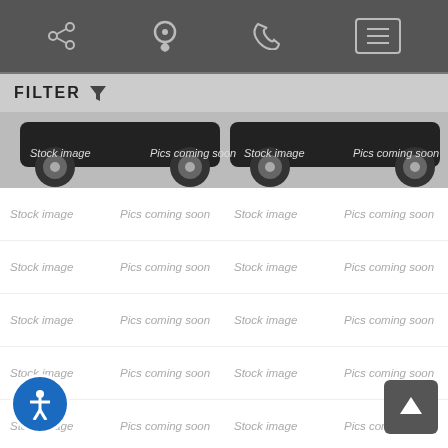Navigation bar with share, location, phone, and menu icons
FILTER
[Figure (photo): Partial view of a dark SUV vehicle (Honda Pilot) showing front wheels and undercarriage area with 'Stock image' and 'Pics coming soon' overlay text]
Stock image  Pics coming soon  Stock image  Pics coming soon
Stock image  Pics coming soon  Stock image  Pics coming soon
Stock image  Pics coming soon  Stock image  Pics coming soon
Stock image  Pics coming soon  Stock image  Pics coming soon
Stock image  Pics coming soon  Stock image  Pics coming soon
2009  Honda  Pilot
4WD 4dr EX-L w/RES
125,000 miles
$13,000
Stock image  Pics coming soon  Stock image  Pics com...